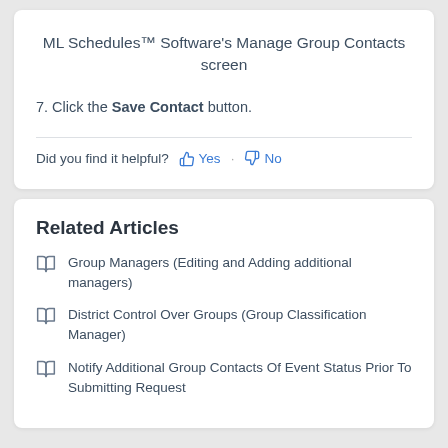ML Schedules™ Software's Manage Group Contacts screen
7. Click the Save Contact button.
Did you find it helpful? Yes · No
Related Articles
Group Managers (Editing and Adding additional managers)
District Control Over Groups (Group Classification Manager)
Notify Additional Group Contacts Of Event Status Prior To Submitting Request